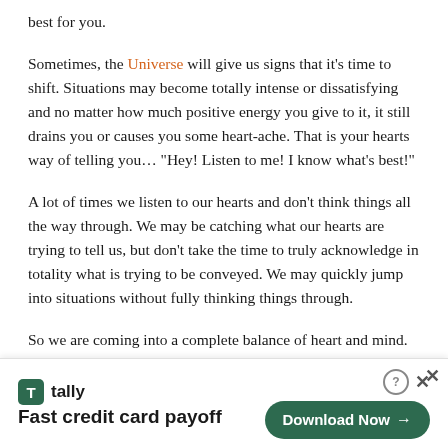best for you.
Sometimes, the Universe will give us signs that it's time to shift. Situations may become totally intense or dissatisfying and no matter how much positive energy you give to it, it still drains you or causes you some heart-ache. That is your hearts way of telling you… "Hey! Listen to me! I know what's best!"
A lot of times we listen to our hearts and don't think things all the way through. We may be catching what our hearts are trying to tell us, but don't take the time to truly acknowledge in totality what is trying to be conveyed. We may quickly jump into situations without fully thinking things through.
So we are coming into a complete balance of heart and mind. Not being so impulsive when it comes to our hearts desires
[Figure (other): Tally app advertisement banner with logo, tagline 'Fast credit card payoff', and a 'Download Now' button]